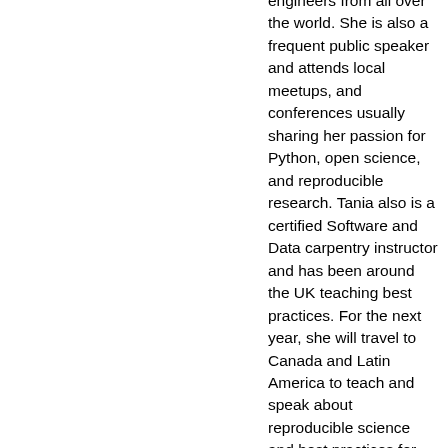engineers from all over the world. She is also a frequent public speaker and attends local meetups, and conferences usually sharing her passion for Python, open science, and reproducible research. Tania also is a certified Software and Data carpentry instructor and has been around the UK teaching best practices. For the next year, she will travel to Canada and Latin America to teach and speak about reproducible science and best practices for scientific software development. In addition, over the last year, she has been the Python lead instructor for Code First